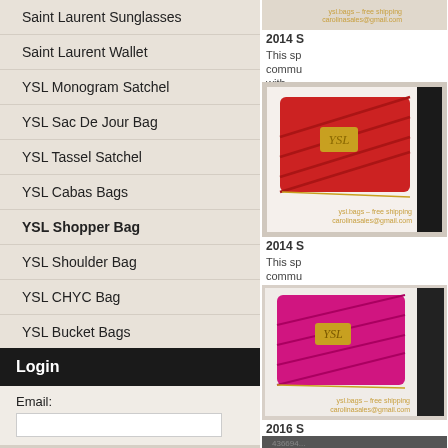Saint Laurent Sunglasses
Saint Laurent Wallet
YSL Monogram Satchel
YSL Sac De Jour Bag
YSL Tassel Satchel
YSL Cabas Bags
YSL Shopper Bag
YSL Shoulder Bag
YSL CHYC Bag
YSL Bucket Bags
Specials ...
New Products ...
Featured Products ...
All Products ...
Login
Email:
[Figure (photo): Red YSL quilted chain bag with gold logo on white background]
2014 S
This sp
commu
with....
[Figure (photo): Hot pink/fuchsia YSL quilted chain bag with gold logo]
2014 S
This sp
commu
with....
[Figure (photo): Black YSL quilted shoulder bag]
2016 S
436694
This sp
commu
42660